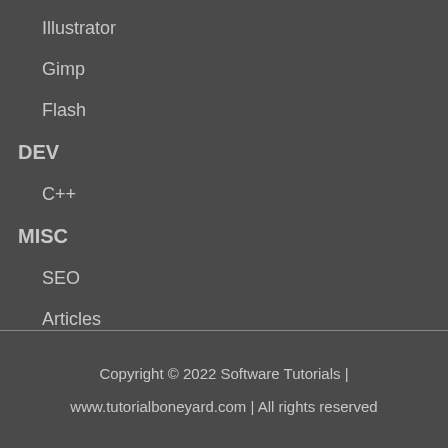Illustrator
Gimp
Flash
DEV
C++
MISC
SEO
Articles
Copyright © 2022 Software Tutorials | www.tutorialboneyard.com | All rights reserved